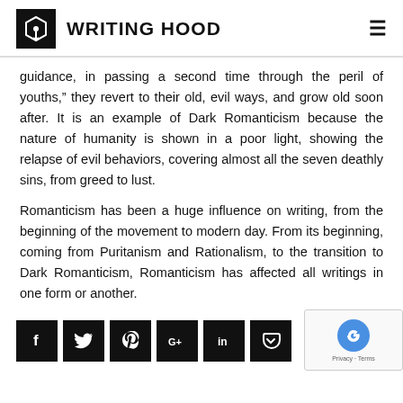WRITING HOOD
guidance, in passing a second time through the peril of youths," they revert to their old, evil ways, and grow old soon after. It is an example of Dark Romanticism because the nature of humanity is shown in a poor light, showing the relapse of evil behaviors, covering almost all the seven deathly sins, from greed to lust.
Romanticism has been a huge influence on writing, from the beginning of the movement to modern day. From its beginning, coming from Puritanism and Rationalism, to the transition to Dark Romanticism, Romanticism has affected all writings in one form or another.
[Figure (other): Social sharing buttons: Facebook, Twitter, Pinterest, Google+, LinkedIn, Pocket, and a share count of 96]